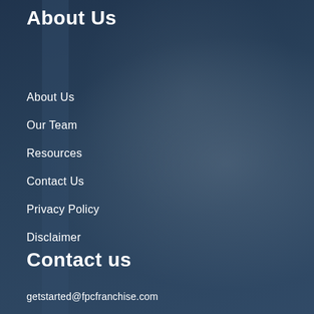About Us
About Us
Our Team
Resources
Contact Us
Privacy Policy
Disclaimer
Contact us
getstarted@fpcfranchise.com